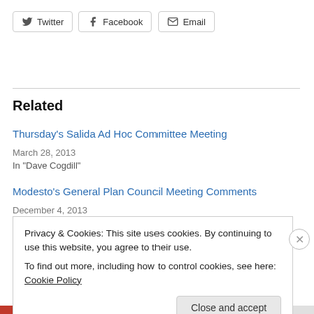[Figure (other): Share buttons: Twitter, Facebook, Email]
Related
Thursday's Salida Ad Hoc Committee Meeting
March 28, 2013
In "Dave Cogdill"
Modesto's General Plan Council Meeting Comments
December 4, 2013
Privacy & Cookies: This site uses cookies. By continuing to use this website, you agree to their use.
To find out more, including how to control cookies, see here: Cookie Policy
Close and accept